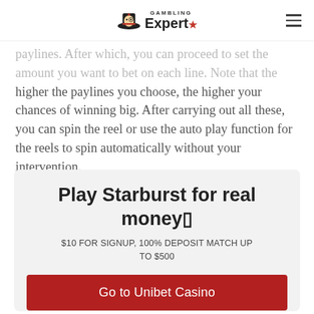GAMBLING Expert★
paylines. After which, you can proceed to set the amount you want to bet on each line. Note that the higher the paylines you choose, the higher your chances of winning big. After carrying out all these, you can spin the reel or use the auto play function for the reels to spin automatically without your intervention.
Play Starburst for real money🎰
$10 FOR SIGNUP, 100% DEPOSIT MATCH UP TO $500
Go to Unibet Casino